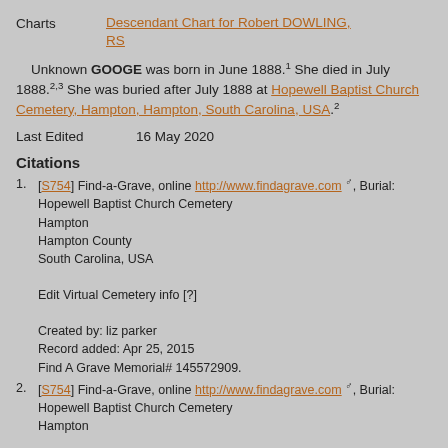Charts    Descendant Chart for Robert DOWLING, RS
Unknown GOOGE was born in June 1888.1 She died in July 1888.2,3 She was buried after July 1888 at Hopewell Baptist Church Cemetery, Hampton, Hampton, South Carolina, USA.2
Last Edited    16 May 2020
Citations
1. [S754] Find-a-Grave, online http://www.findagrave.com, Burial: Hopewell Baptist Church Cemetery Hampton Hampton County South Carolina, USA Edit Virtual Cemetery info [?] Created by: liz parker Record added: Apr 25, 2015 Find A Grave Memorial# 145572909.
2. [S754] Find-a-Grave, online http://www.findagrave.com, Burial: Hopewell Baptist Church Cemetery Hampton